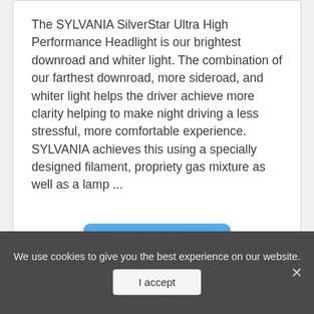The SYLVANIA SilverStar Ultra High Performance Headlight is our brightest downroad and whiter light. The combination of our farthest downroad, more sideroad, and whiter light helps the driver achieve more clarity helping to make night driving a less stressful, more comfortable experience. SYLVANIA achieves this using a specially designed filament, propriety gas mixture as well as a lamp ...
[Figure (other): A blue rounded rectangle button labeled 'Learn more']
We use cookies to give you the best experience on our website.
[Figure (other): A light grey button labeled 'I accept' inside a dark cookie consent banner]